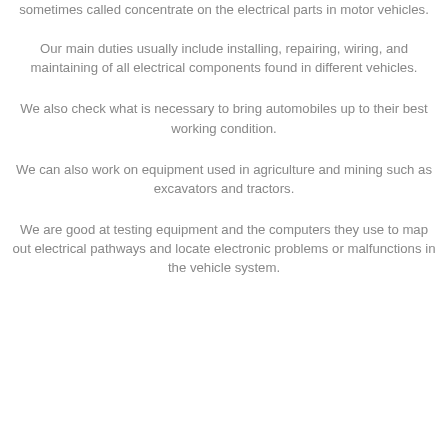sometimes called concentrate on the electrical parts in motor vehicles.
Our main duties usually include installing, repairing, wiring, and maintaining of all electrical components found in different vehicles.
We also check what is necessary to bring automobiles up to their best working condition.
We can also work on equipment used in agriculture and mining such as excavators and tractors.
We are good at testing equipment and the computers they use to map out electrical pathways and locate electronic problems or malfunctions in the vehicle system.